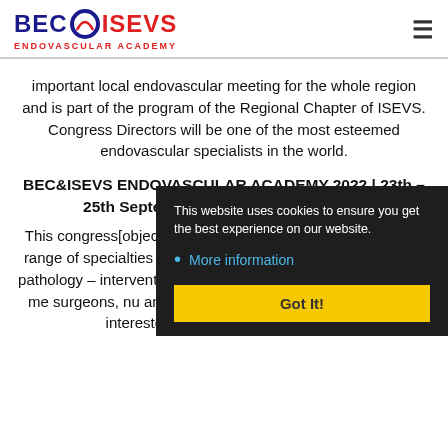BEC ISEVS ENDOVASCULAR ACADEMY
important local endovascular meeting for the whole region and is part of the program of the Regional Chapter of ISEVS. Congress Directors will be one of the most esteemed endovascular specialists in the world.
BEC&ISEVS ENDOVASCULAR ACADEMY 2022 | 23th – 25th September 2022 • Sofia, Bulgaria
This congress[object HTMLLIElement] is designed for broad range of specialties dealing with vascular and neurovascular pathology – interventional cardiologists, neurologists, vascular me, surgeons, nu and other h interes HTMLLIEle potentially interested in modern and up to date
This website uses cookies to ensure you get the best experience on our website.
More information
Got It!